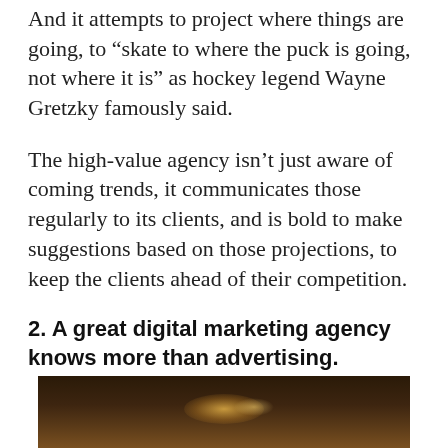And it attempts to project where things are going, to “skate to where the puck is going, not where it is” as hockey legend Wayne Gretzky famously said.
The high-value agency isn’t just aware of coming trends, it communicates those regularly to its clients, and is bold to make suggestions based on those projections, to keep the clients ahead of their competition.
2. A great digital marketing agency knows more than advertising.
[Figure (photo): Dark background photo with warm bokeh/light glow effects, partially visible at bottom of page]